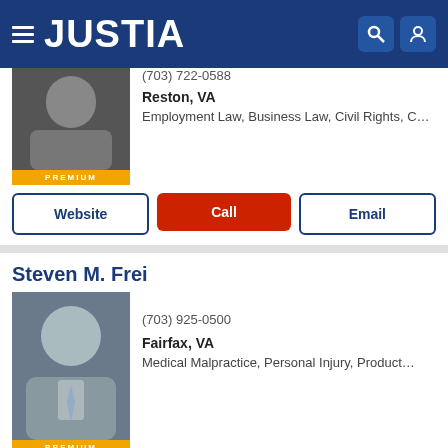JUSTIA
(703) 722-0588
Reston, VA
Employment Law, Business Law, Civil Rights, C...
Website | Call | Email
Steven M. Frei
(703) 925-0500
Fairfax, VA
Medical Malpractice, Personal Injury, Product...
Website | Call | Email
Jeffrey J. Renzulli